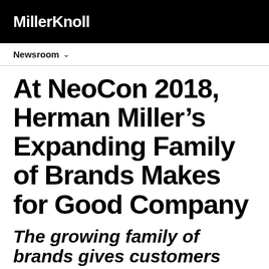MillerKnoll
Newsroom
At NeoCon 2018, Herman Miller’s Expanding Family of Brands Makes for Good Company
The growing family of brands gives customers